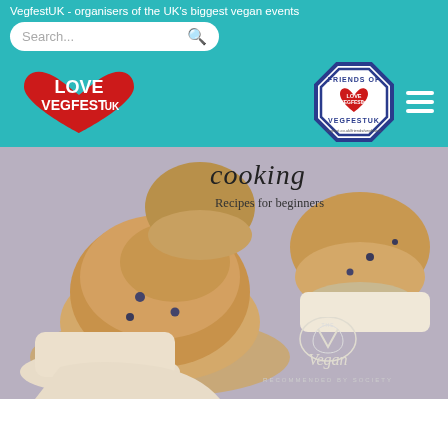VegfestUK - organisers of the UK's biggest vegan events
[Figure (screenshot): Search bar with magnifying glass icon on teal background]
[Figure (logo): Love VegFest UK heart-shaped logo in red with white text]
[Figure (logo): Friends of VegFestUK octagonal badge with Love VegFestUK inner logo]
[Figure (photo): Close-up photo of blueberry muffins with book cover overlay text reading 'cooking - Recipes for beginners' and The Vegan Society recommended badge]
cooking
Recipes for beginners
RECOMMENDED BY SOCIETY